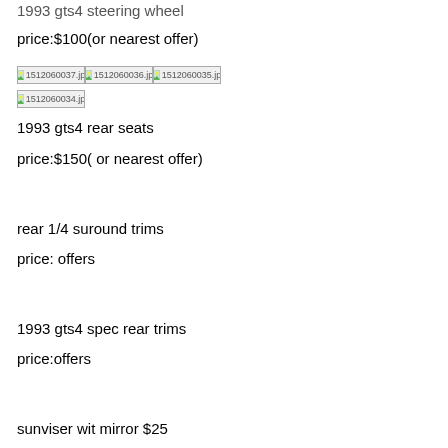1993 gts4 steering wheel
price:$100(or nearest offer)
[Figure (photo): Four broken image placeholders: 1512060037.jpg, 1512060036.jpg, 1512060035.jpg, 1512060034.jpg]
1993 gts4 rear seats
price:$150( or nearest offer)
rear 1/4 suround trims
price: offers
1993 gts4 spec rear trims
price:offers
sunviser wit mirror $25